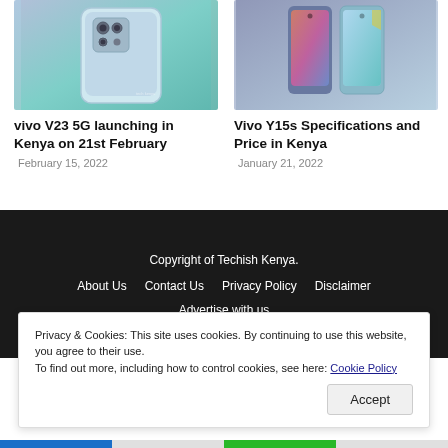[Figure (photo): Back of a vivo V23 5G smartphone showing teal/blue gradient color and triple camera setup]
vivo V23 5G launching in Kenya on 21st February
February 15, 2022
[Figure (photo): Two Vivo Y15s smartphones shown front-facing in blue/teal colors]
Vivo Y15s Specifications and Price in Kenya
January 21, 2022
Copyright of Techish Kenya.
About Us   Contact Us   Privacy Policy   Disclaimer
Advertise with us
Privacy & Cookies: This site uses cookies. By continuing to use this website, you agree to their use.
To find out more, including how to control cookies, see here: Cookie Policy